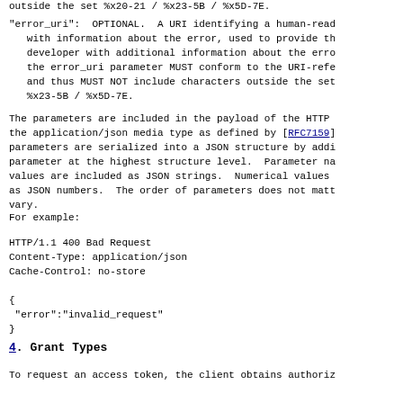outside the set %x20-21 / %x23-5B / %x5D-7E.
"error_uri":  OPTIONAL.  A URI identifying a human-readable document with information about the error, used to provide the developer with additional information about the error. the error_uri parameter MUST conform to the URI-reference syntax and thus MUST NOT include characters outside the set %x20-21 / %x23-5B / %x5D-7E.
The parameters are included in the payload of the HTTP response using the application/json media type as defined by [RFC7159]. The parameters are serialized into a JSON structure by adding each parameter at the highest structure level.  Parameter names and string values are included as JSON strings.  Numerical values are included as JSON numbers.  The order of parameters does not matter and may vary.
For example:
HTTP/1.1 400 Bad Request
Content-Type: application/json
Cache-Control: no-store

{
  "error":"invalid_request"
}
4.  Grant Types
To request an access token, the client obtains authorization